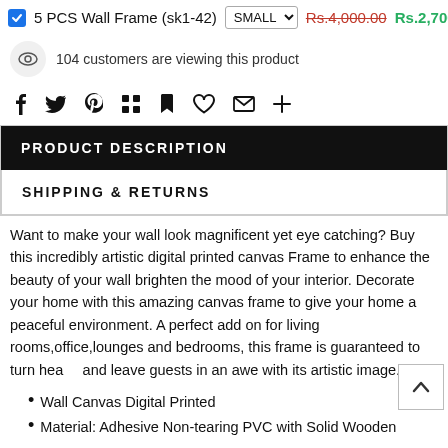5 PCS Wall Frame (sk1-42) SMALL Rs.4,000.00 Rs.2,700.00
104 customers are viewing this product
Social share icons: f, twitter, pinterest, grid, bookmark, heart, mail, plus
PRODUCT DESCRIPTION
SHIPPING & RETURNS
Want to make your wall look magnificent yet eye catching? Buy this incredibly artistic digital printed canvas Frame to enhance the beauty of your wall brighten the mood of your interior. Decorate your home with this amazing canvas frame to give your home a peaceful environment. A perfect add on for living rooms,office,lounges and bedrooms, this frame is guaranteed to turn heads and leave guests in an awe with its artistic image.
Wall Canvas Digital Printed
Material: Adhesive Non-tearing PVC with Solid Wooden